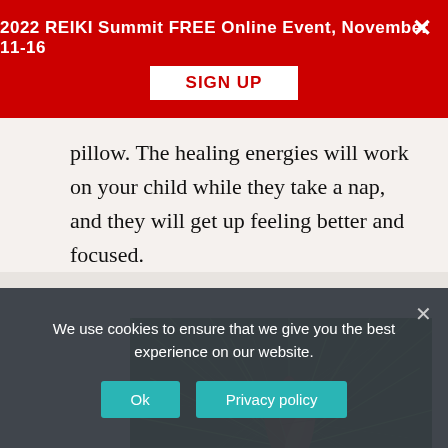2022 REIKI Summit FREE Online Event, November 11-16 SIGN UP
pillow. The healing energies will work on your child while they take a nap, and they will get up feeling better and focused.
[Figure (photo): Close-up photograph of pine tree buds and needles, showing brown elongated pine cones/buds emerging from a cluster of long green pine needles.]
We use cookies to ensure that we give you the best experience on our website.
Ok  Privacy policy